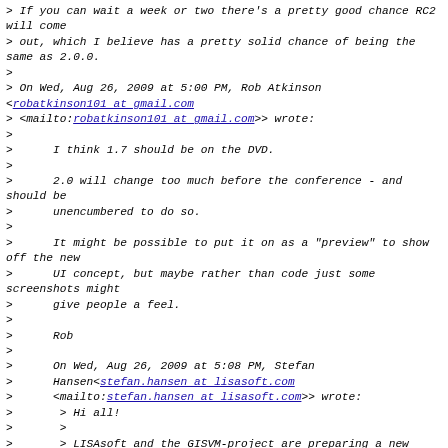> If you can wait a week or two there's a pretty good chance RC2 will come
> out, which I believe has a pretty solid chance of being the same as 2.0.0.
>
> On Wed, Aug 26, 2009 at 5:00 PM, Rob Atkinson <robatkinson101 at gmail.com
> <mailto:robatkinson101 at gmail.com>> wrote:
>
>      I think 1.7 should be on the DVD.
>
>      2.0 will change too much before the conference - and should be
>      unencumbered to do so.
>
>      It might be possible to put it on as a "preview" to show off the new
>      UI concept, but maybe rather than code just some screenshots might
>      give people a feel.
>
>      Rob
>
>      On Wed, Aug 26, 2009 at 5:08 PM, Stefan
>      Hansen<stefan.hansen at lisasoft.com
>      <mailto:stefan.hansen at lisasoft.com>> wrote:
>       > Hi all!
>       >
>       > LISAsoft and the GISVM-project are preparing a new LiveDVD for the